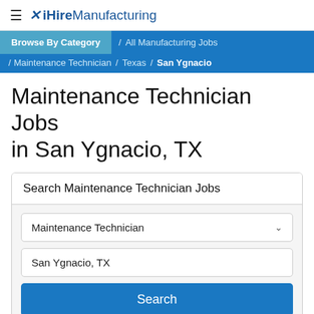≡ ✕ iHireManufacturing
Browse By Category / All Manufacturing Jobs / Maintenance Technician / Texas / San Ygnacio
Maintenance Technician Jobs in San Ygnacio, TX
Search Maintenance Technician Jobs
Maintenance Technician [dropdown]
San Ygnacio, TX
Search